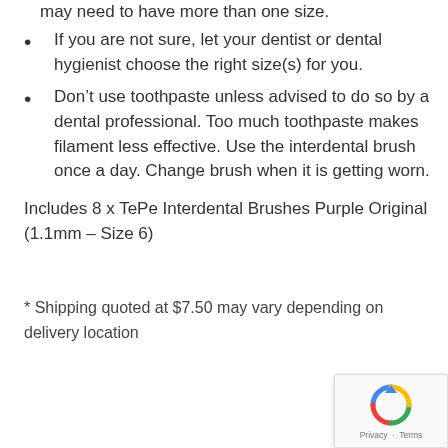may need to have more than one size.
If you are not sure, let your dentist or dental hygienist choose the right size(s) for you.
Don't use toothpaste unless advised to do so by a dental professional. Too much toothpaste makes filament less effective. Use the interdental brush once a day. Change brush when it is getting worn.
Includes 8 x TePe Interdental Brushes Purple Original (1.1mm – Size 6)
* Shipping quoted at $7.50 may vary depending on delivery location